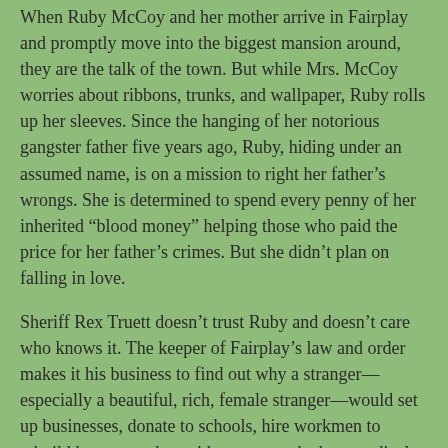When Ruby McCoy and her mother arrive in Fairplay and promptly move into the biggest mansion around, they are the talk of the town. But while Mrs. McCoy worries about ribbons, trunks, and wallpaper, Ruby rolls up her sleeves. Since the hanging of her notorious gangster father five years ago, Ruby, hiding under an assumed name, is on a mission to right her father's wrongs. She is determined to spend every penny of her inherited “blood money” helping those who paid the price for her father’s crimes. But she didn’t plan on falling in love.
Sheriff Rex Truett doesn’t trust Ruby and doesn’t care who knows it. The keeper of Fairplay’s law and order makes it his business to find out why a stranger—especially a beautiful, rich, female stranger—would set up businesses, donate to schools, hire workmen to rebuild houses, and provide access to the best medical care. But when a cholera epidemic sweeps through the city, he is forced to reconsider.
Will Ruby have the courage to tell Rex her family secret? And will love or justice win in Rex’s heart?
My Review